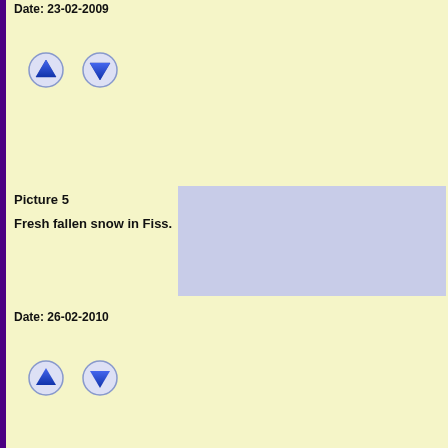Date: 23-02-2009
[Figure (infographic): Up arrow button (blue arrow pointing up in a circular button)]
[Figure (infographic): Down arrow button (blue arrow pointing down in a circular button)]
Picture 5
Fresh fallen snow in Fiss.
[Figure (photo): Photo placeholder with light blue-grey background representing Picture 5 - Fresh fallen snow in Fiss.]
Date: 26-02-2010
[Figure (infographic): Up arrow button (blue arrow pointing up in a circular button)]
[Figure (infographic): Down arrow button (blue arrow pointing down in a circular button)]